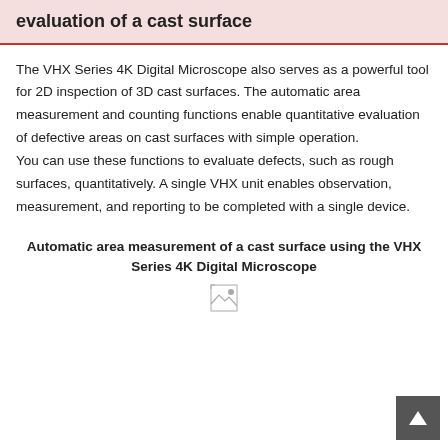evaluation of a cast surface
The VHX Series 4K Digital Microscope also serves as a powerful tool for 2D inspection of 3D cast surfaces. The automatic area measurement and counting functions enable quantitative evaluation of defective areas on cast surfaces with simple operation.
You can use these functions to evaluate defects, such as rough surfaces, quantitatively. A single VHX unit enables observation, measurement, and reporting to be completed with a single device.
Automatic area measurement of a cast surface using the VHX Series 4K Digital Microscope
[Figure (photo): Broken/missing image placeholder at bottom of page]